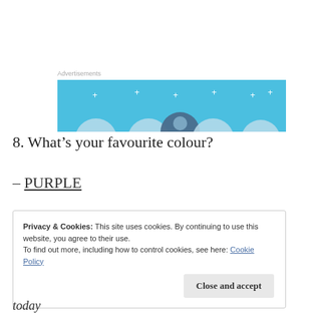[Figure (illustration): Blue banner advertisement with circular shapes/icons along the bottom edge on a light blue background, with small cross/plus decorations scattered across.]
8. What's your favourite colour?
– PURPLE
Privacy & Cookies: This site uses cookies. By continuing to use this website, you agree to their use.
To find out more, including how to control cookies, see here: Cookie Policy
today